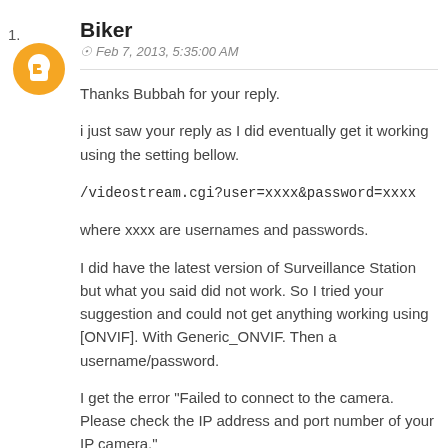1.
[Figure (illustration): Orange circular Blogger avatar icon with white silhouette 'B' logo]
Biker
Feb 7, 2013, 5:35:00 AM
Thanks Bubbah for your reply.
i just saw your reply as I did eventually get it working using the setting bellow.
/videostream.cgi?user=xxxx&password=xxxx
where xxxx are usernames and passwords.
I did have the latest version of Surveillance Station but what you said did not work. So I tried your suggestion and could not get anything working using [ONVIF]. With Generic_ONVIF. Then a username/password.
I get the error "Failed to connect to the camera. Please check the IP address and port number of your IP camera."
So Ive had to go back to the other method. But I dont have a resolution setting/Audio/PT but have Z. Well I cant cant the res setting is just says use camera settings. I dont